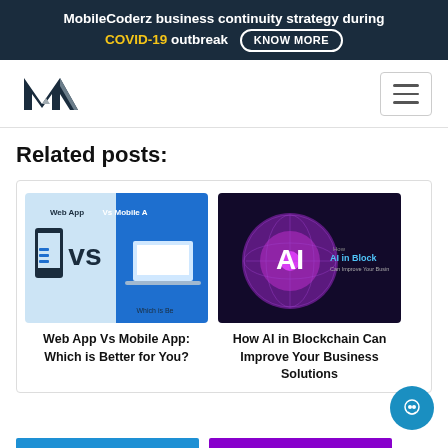MobileCoderz business continuity strategy during COVID-19 outbreak KNOW MORE
[Figure (logo): MobileCoderz MC logo in dark navy blue]
Related posts:
[Figure (screenshot): Web App Vs Mobile App comparison graphic with VS text and phone/laptop imagery]
Web App Vs Mobile App: Which is Better for You?
[Figure (screenshot): How AI in Blockchain Can Improve Your Business Solutions - dark purple background with AI text and globe]
How AI in Blockchain Can Improve Your Business Solutions